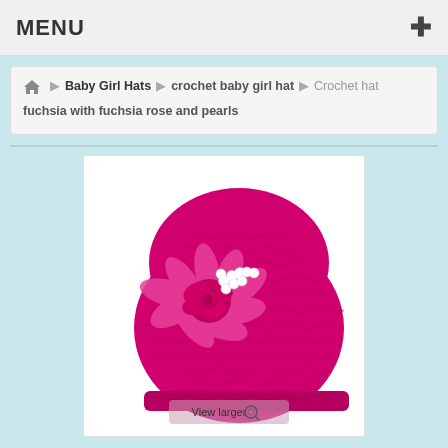MENU +
Home > Baby Girl Hats > crochet baby girl hat > Crochet hat fuchsia with fuchsia rose and pearls
[Figure (photo): Fuchsia pink crocheted baby girl hat with a large fuchsia flower decoration featuring petals, a satin rose, and pearl accents in the center. The hat has an open lace knit texture. A 'View larger' button with magnifying glass icon is shown in the bottom-right corner of the image.]